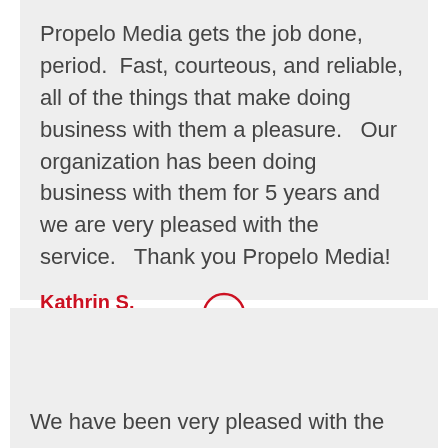Propelo Media gets the job done, period.  Fast, courteous, and reliable, all of the things that make doing business with them a pleasure.   Our organization has been doing business with them for 5 years and we are very pleased with the service.   Thank you Propelo Media!
Kathrin S.
Membership Director, California Alliance for Retired Americans
[Figure (illustration): Red circle with double closing quotation marks inside]
We have been very pleased with the